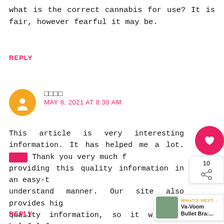what is the correct cannabis for use? It is fair, however fearful it may be.
REPLY
□□□□
MAY 8, 2021 AT 8:30 AM
This article is very interesting information. It has helped me a lot. □□□□ Thank you very much for providing this quality information in an easy-to-understand manner. Our site also provides high quality information, so it will be helpful for your site. □□□□
REPLY